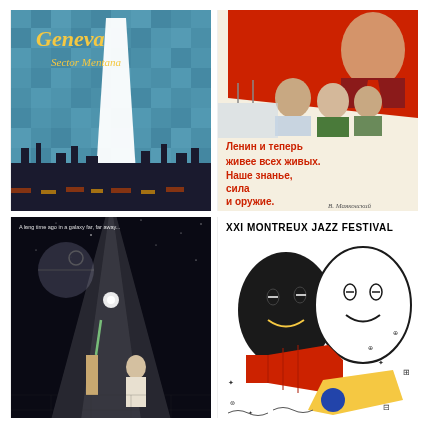[Figure (illustration): Geneva tourism poster featuring a large white sail/jet d'eau against a blue mosaic background with city skyline silhouette and text 'Geneva' in yellow cursive script]
[Figure (illustration): Soviet propaganda poster featuring Lenin portrait with red flag, industrial workers below, and Russian text reading 'Ленин и теперь живее всех живых. Наше знанье, сила и оружие.']
[Figure (illustration): Star Wars movie poster with dark space background, Death Star, beam of light, characters Luke and Leia, with tagline 'A long time ago in a galaxy far, far away...']
[Figure (illustration): XXI Montreux Jazz Festival poster featuring abstract stylized faces in black and white with colorful musical elements including a red trumpet, yellow shapes, and decorative symbols]